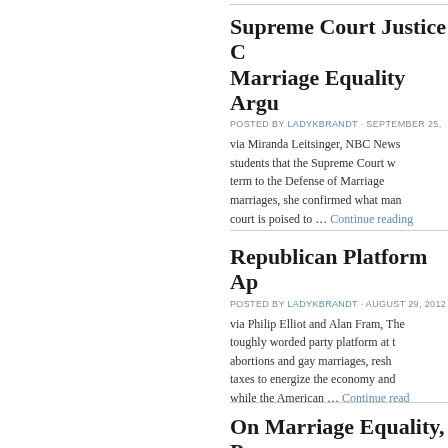Supreme Court Justice C Marriage Equality Argu
POSTED BY LADYKBRANDT · SEPTEMBER 25,
via Miranda Leitsinger, NBC News students that the Supreme Court w term to the Defense of Marriage marriages, she confirmed what man court is poised to … Continue reading
Republican Platform Ap
POSTED BY LADYKBRANDT · AUGUST 29, 2012
via Philip Elliot and Alan Fram, The toughly worded party platform at t abortions and gay marriages, resh taxes to energize the economy and while the American … Continue read
On Marriage Equality, P
POSTED BY LADYKBRANDT · AUGUST 23, 2012